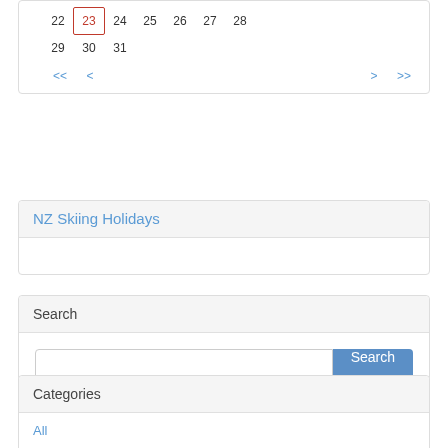[Figure (other): Calendar widget showing dates 22-31 with navigation arrows. Date 23 is highlighted with a red border.]
NZ Skiing Holidays
Search
[Figure (other): Search input field with Search button]
Categories
All
Introduction
Mt Hutt